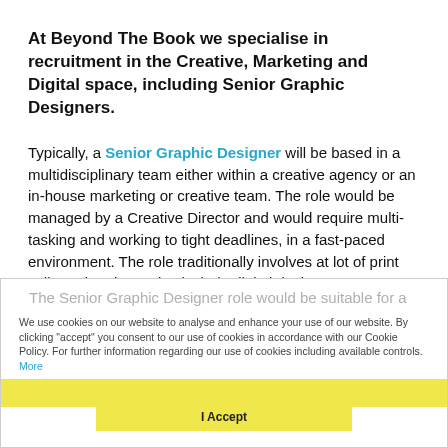At Beyond The Book we specialise in recruitment in the Creative, Marketing and Digital space, including Senior Graphic Designers.
Typically, a Senior Graphic Designer will be based in a multidisciplinary team either within a creative agency or an in-house marketing or creative team. The role would be managed by a Creative Director and would require multi-tasking and working to tight deadlines, in a fast-paced environment. The role traditionally involves at lot of print collateral and can also include digital design.
The Senior Graphic Designer role would be suitable for a highly experienced Graphic Designer with the ability to also come up with fresh design concepts, with the ability to develop designs across multiple channels. The individual will
We use cookies on our website to analyse and enhance your use of our website. By clicking "accept" you consent to our use of cookies in accordance with our Cookie Policy. For further information regarding our use of cookies including available controls. More
I Accept